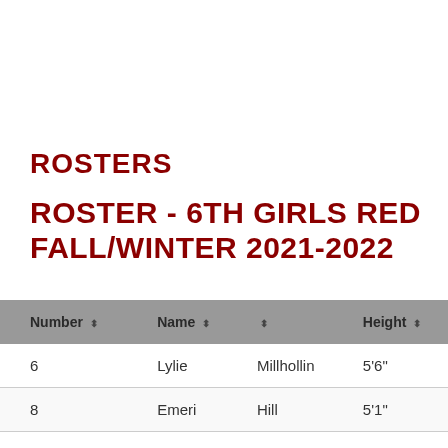ROSTERS
ROSTER - 6TH GIRLS RED FALL/WINTER 2021-2022
| Number | Name |  | Height |
| --- | --- | --- | --- |
| 6 | Lylie | Millhollin | 5'6" |
| 8 | Emeri | Hill | 5'1" |
| 9 | Hayden | Greene | 5'2" |
| 10 | Berkley | Bryant | 5'2" |